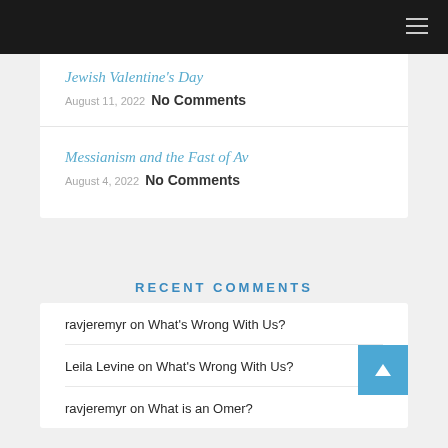Navigation bar with menu icon
Jewish Valentine's Day — August 11, 2022 No Comments
Messianism and the Fast of Av — August 4, 2022 No Comments
RECENT COMMENTS
ravjeremyr on What's Wrong With Us?
Leila Levine on What's Wrong With Us?
ravjeremyr on What is an Omer?